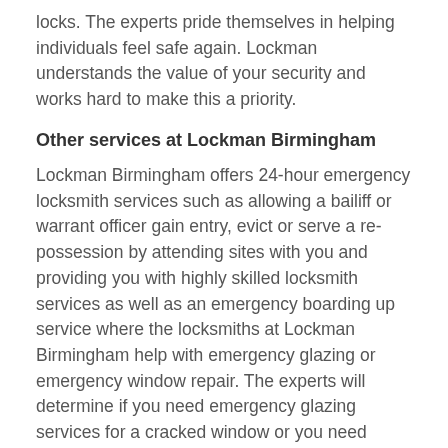locks. The experts pride themselves in helping individuals feel safe again. Lockman understands the value of your security and works hard to make this a priority.
Other services at Lockman Birmingham
Lockman Birmingham offers 24-hour emergency locksmith services such as allowing a bailiff or warrant officer gain entry, evict or serve a re-possession by attending sites with you and providing you with highly skilled locksmith services as well as an emergency boarding up service where the locksmiths at Lockman Birmingham help with emergency glazing or emergency window repair. The experts will determine if you need emergency glazing services for a cracked window or you need emergency boarding, it is essential to ring and find out.
The locksmiths also provide residents with the best security locks in Birmingham, recommending that households fit approved security Anti Snap locks.